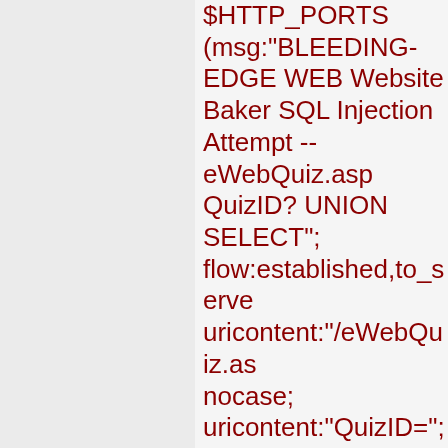$HTTP_PORTS (msg:"BLEEDING-EDGE WEB Website Baker SQL Injection Attempt -- eWebQuiz.asp QuizID? UNION SELECT"; flow:established,to_server; uricontent:"/eWebQuiz.asp"; nocase; uricontent:"QuizID="; nocase; uricontent:"UNION"; nocase; pcre:"/UNION\s+SELECT; classtype:web-application-attack; reference:cve,CVE-2007-0527; reference:url,downloads.s sid:2005228; rev:2;)